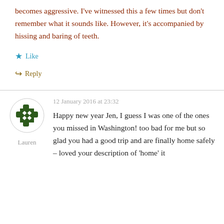becomes aggressive. I've witnessed this a few times but don't remember what it sounds like. However, it's accompanied by hissing and baring of teeth.
★ Like
↳ Reply
12 January 2016 at 23:32
[Figure (illustration): Dark green puzzle-piece avatar icon for user Lauren]
Lauren
Happy new year Jen, I guess I was one of the ones you missed in Washington! too bad for me but so glad you had a good trip and are finally home safely – loved your description of 'home' it